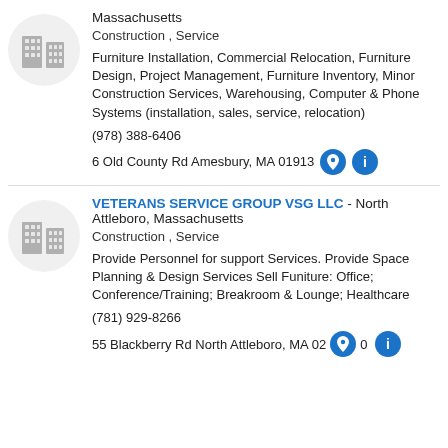[Figure (logo): Building/office icon in a light gray circle]
Massachusetts
Construction , Service
Furniture Installation, Commercial Relocation, Furniture Design, Project Management, Furniture Inventory, Minor Construction Services, Warehousing, Computer & Phone Systems (installation, sales, service, relocation)
(978) 388-6406
6 Old County Rd Amesbury, MA 01913
[Figure (logo): Building/office icon in a light gray circle]
VETERANS SERVICE GROUP VSG LLC - North Attleboro, Massachusetts
Construction , Service
Provide Personnel for support Services. Provide Space Planning & Design Services Sell Funiture: Office; Conference/Training; Breakroom & Lounge; Healthcare
(781) 929-8266
55 Blackberry Rd North Attleboro, MA 02760